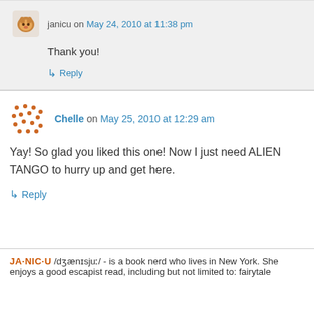janicu on May 24, 2010 at 11:38 pm
Thank you!
↳ Reply
Chelle on May 25, 2010 at 12:29 am
Yay! So glad you liked this one! Now I just need ALIEN TANGO to hurry up and get here.
↳ Reply
JA·NIC·U /dʒænɪsjuː/ - is a book nerd who lives in New York. She enjoys a good escapist read, including but not limited to: fairytale